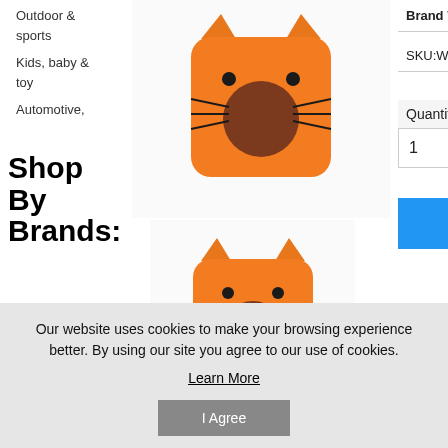Outdoor & sports
Kids, baby & toy
Automotive,
Shop By Brands:
Panda
[Figure (photo): Orange cat-shaped pet house with round dark entrance, seen from front/top view]
[Figure (photo): Orange cat-shaped pet house, second angle/smaller view]
[Figure (photo): Multiple pet house color variants shown as circular thumbnails]
Brand Wukong Paradise
SKU:WK-PET297524601-LIZ00359
Quantity:
1
ADD TO CART
Our website uses cookies to make your browsing experience better. By using our site you agree to our use of cookies.
Learn More
I Agree